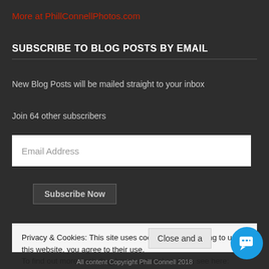More at PhillConnellPhotos.com
SUBSCRIBE TO BLOG POSTS BY EMAIL
New Blog Posts will be mailed straight to your inbox
Join 64 other subscribers
Email Address
Subscribe Now
Privacy & Cookies: This site uses cookies. By continuing to use this website, you agree to their use.
To find out more, including how to control cookies, see here: Cookie Policy
Close and a
All content Copyright Phill Connell 2018